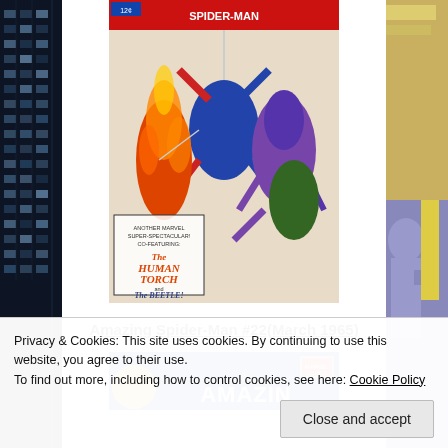[Figure (photo): Left sidebar showing partial view of a building with windows at night]
[Figure (photo): Comic book cover of Amazing Spider-Man #22 featuring Spider-Man, Human Torch, and The Beetle]
Amazing Spider-Man #22(March 1965)
[Figure (photo): Partial view of another Amazing Spider-Man comic book cover showing the title text]
[Figure (photo): Right sidebar showing partial view of a comic book character]
Privacy & Cookies: This site uses cookies. By continuing to use this website, you agree to their use.
To find out more, including how to control cookies, see here: Cookie Policy
Close and accept